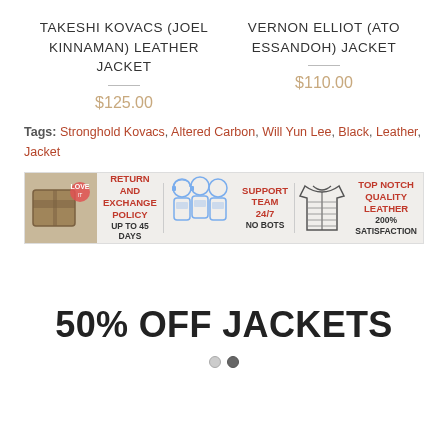TAKESHI KOVACS (JOEL KINNAMAN) LEATHER JACKET
$125.00
VERNON ELLIOT (ATO ESSANDOH) JACKET
$110.00
Tags: Stronghold Kovacs, Altered Carbon, Will Yun Lee, Black, Leather, Jacket
[Figure (infographic): Banner with three segments: Return and Exchange Policy up to 45 days, Support Team 24/7 No Bots, Top Notch Quality Leather 200% Satisfaction. Left side shows a package image. Middle shows illustrated customer support figures. Right shows jacket illustration.]
50% OFF JACKETS